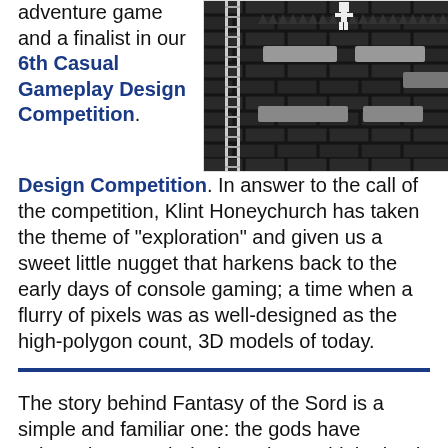adventure game and a finalist in our 6th Casual Gameplay Design Competition. In answer to the call of the competition, Klint Honeychurch has taken the theme of "exploration" and given us a sweet little nugget that harkens back to the early days of console gaming; a time when a flurry of pixels was as well-designed as the high-polygon count, 3D models of today.
[Figure (screenshot): Pixel-art style game screenshot showing a dark brick-walled dungeon with a character sprite, ladders, and platform ledges in grayscale.]
The story behind Fantasy of the Sord is a simple and familiar one: the gods have selected you as their champion to rid the land of an evil that has come over it. No questionable motives or complex character development, just good versus evil. Begin your quest by selecting a character, the choice of which is